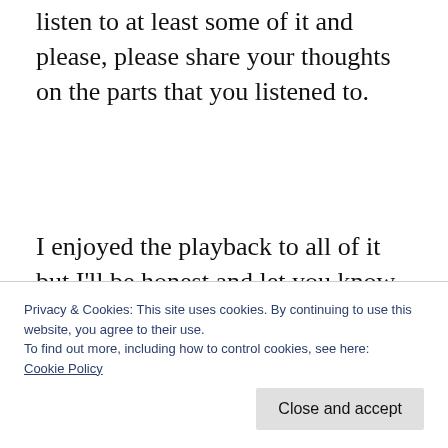listen to at least some of it and please, please share your thoughts on the parts that you listened to.
I enjoyed the playback to all of it but I'll be honest and let you know that I enjoyed the last half of the conversation more, by then 007 and I had settled into a cozy tete-a-tete.
Privacy & Cookies: This site uses cookies. By continuing to use this website, you agree to their use.
To find out more, including how to control cookies, see here: Cookie Policy
Close and accept